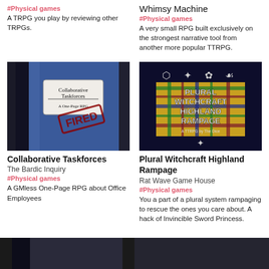#Physical games
A TRPG you play by reviewing other TRPGs.
Whimsy Machine
#Physical games
A very small RPG built exclusively on the strongest narrative tool from another more popular TTRPG.
[Figure (photo): Blue composition notebook cover with 'Collaborative Taskforces - A One-Page RPG' label and a red 'FIRED' stamp]
Collaborative Taskforces
The Bardic Inquiry
#Physical games
A GMless One-Page RPG about Office Employees
[Figure (photo): Dark background with occult symbols and a tartan plaid center reading 'PLURAL WITCHCRAFT HIGHLAND RAMPAGE - A TTRPG by The Dice']
Plural Witchcraft Highland Rampage
Rat Wave Game House
#Physical games
You a part of a plural system rampaging to rescue the ones you care about. A hack of Invincible Sword Princess.